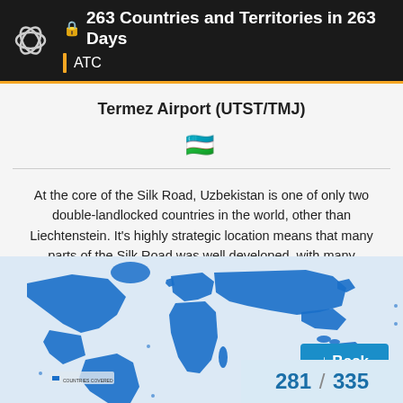263 Countries and Territories in 263 Days | ATC
Termez Airport (UTST/TMJ)
🇺🇿
At the core of the Silk Road, Uzbekistan is one of only two double-landlocked countries in the world, other than Liechtenstein. It's highly strategic location means that many parts of the Silk Road was well developed, with many buildings from the Soviet era also being architectural marvels.
[Figure (map): World map with countries visited highlighted in blue, showing global coverage across continents]
281 / 335